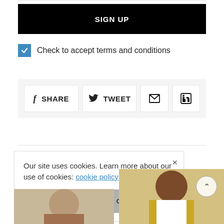SIGN UP
Check to accept terms and conditions
SHARE
TWEET
Our site uses cookies. Learn more about our use of cookies: cookie policy
I ACCEPT USE OF COOKIES
[Figure (photo): Partial photo of a person at the bottom left]
[Figure (photo): Partial photo of a person wearing yellow/gold jacket at the bottom right]